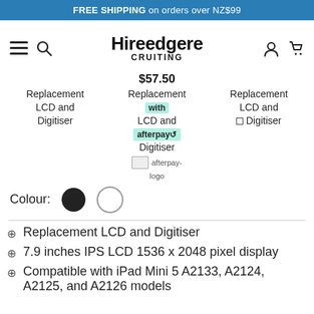FREE SHIPPING on orders over NZ$99
[Figure (screenshot): Navigation bar with hamburger menu, search icon, Hireedgere Cruiting brand logo, person icon, and cart icon]
$57.50
Replacement LCD and Digitiser
Replacement with LCD and Digitiser
Replacement LCD and Digitiser
Colour:
afterpay logo
Replacement LCD and Digitiser
7.9 inches IPS LCD 1536 x 2048 pixel display
Compatible with iPad Mini 5 A2133, A2124, A2125, and A2126 models